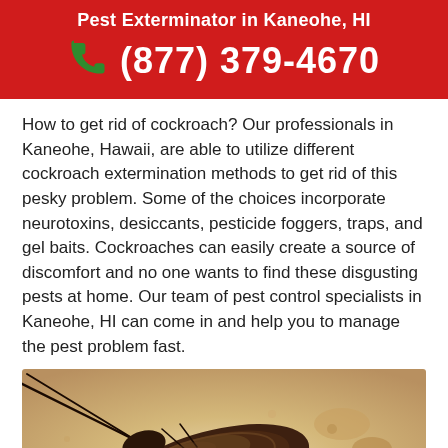Pest Exterminator in Kaneohe, HI
(877) 379-4670
How to get rid of cockroach? Our professionals in Kaneohe, Hawaii, are able to utilize different cockroach extermination methods to get rid of this pesky problem. Some of the choices incorporate neurotoxins, desiccants, pesticide foggers, traps, and gel baits. Cockroaches can easily create a source of discomfort and no one wants to find these disgusting pests at home. Our team of pest control specialists in Kaneohe, HI can come in and help you to manage the pest problem fast.
[Figure (photo): Close-up photo of a cockroach on a surface with blurred cockroaches in the background]